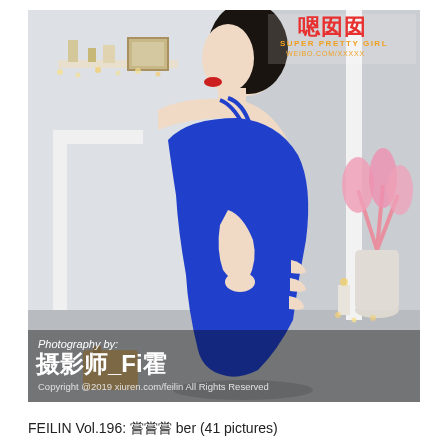[Figure (photo): A woman in a blue form-fitting dress photographed from the side in an indoor setting with decorative elements. Top-right corner has a Chinese media logo with text and weibo URL. Bottom of photo has photographer credit overlay.]
FEILIN Vol.196: 嗯嗯嗯 ber (41 pictures)